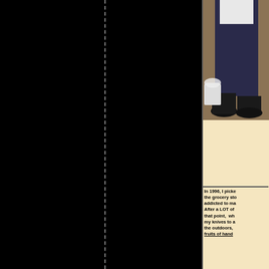[Figure (photo): Photo of a person standing in dark clothing (pants and shoes visible), with a white bucket on the ground nearby, in front of a wooden background. Only lower half of body visible.]
In 1996, I picked up a book at the grocery store and became addicted to making knives. After a LOT of practice since that point, when I'm not using my knives to actually enjoy the outdoors, I enjoy the fruits of hand...